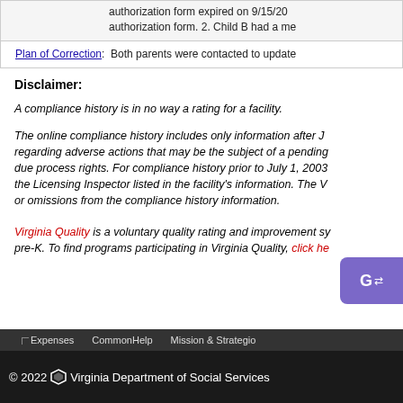authorization form expired on 9/15/20 authorization form. 2. Child B had a me
Plan of Correction: Both parents were contacted to update
Disclaimer:
A compliance history is in no way a rating for a facility.
The online compliance history includes only information after J regarding adverse actions that may be the subject of a pending due process rights. For compliance history prior to July 1, 2003 the Licensing Inspector listed in the facility's information. The V or omissions from the compliance history information.
Virginia Quality is a voluntary quality rating and improvement sy pre-K. To find programs participating in Virginia Quality, click he
Expenses   CommonHelp   Mission & Strategic
© 2022 Virginia Department of Social Services